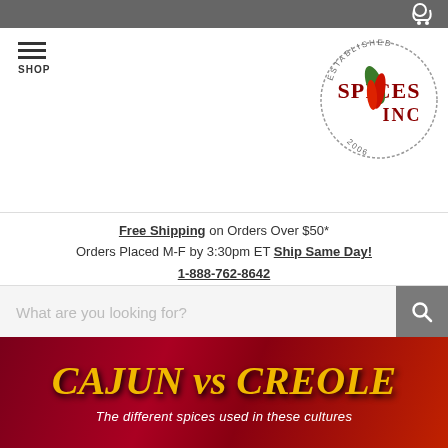Spices Inc website header with cart icon
[Figure (logo): Spices Inc logo — circular badge with 'ESTABLISHED' text and chili pepper illustration, red lettering 'SPICES INC']
Free Shipping on Orders Over $50*
Orders Placed M-F by 3:30pm ET Ship Same Day!
1-888-762-8642
What are you looking for?
[Figure (illustration): Cajun vs Creole banner — dark red/maroon background with large yellow stylized text 'CAJUN vs CREOLE' and subtitle 'The different spices used in these cultures']
[Figure (infographic): Bottom strip of infographic showing Cajun vs Creole comparison with orange background, text panels asking 'What do Cajun foods rely on to spice them up?' and 'What is popular in Cajun foods?' with central CAJUN shield emblem]